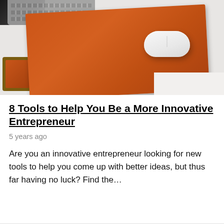[Figure (photo): Overhead photo of a desk setup with a white Apple Magic Mouse on an orange/brown leather mouse pad, a keyboard in the upper left, a small wood-framed item at lower left, and white surface areas.]
8 Tools to Help You Be a More Innovative Entrepreneur
5 years ago
Are you an innovative entrepreneur looking for new tools to help you come up with better ideas, but thus far having no luck? Find the…